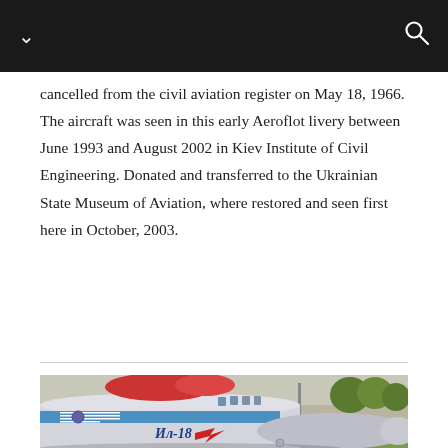navigation bar with chevron and search icons
cancelled from the civil aviation register on May 18, 1966. The aircraft was seen in this early Aeroflot livery between June 1993 and August 2002 in Kiev Institute of Civil Engineering. Donated and transferred to the Ukrainian State Museum of Aviation, where restored and seen first here in October, 2003.
[Figure (photo): Photograph of an Ilyushin Il-18 aircraft (marked Ил-18) in Aeroflot livery — white fuselage with blue stripe and red lightning bolt logo — displayed outdoors, likely at the Ukrainian State Museum of Aviation.]